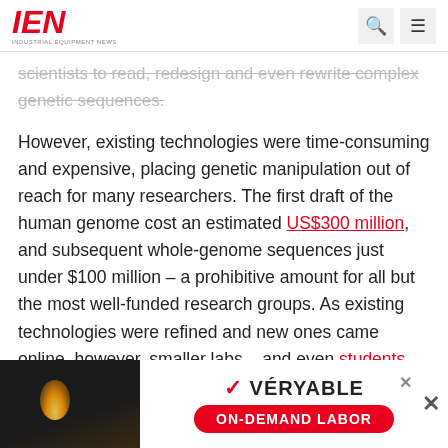IEN INDUSTRIAL EQUIPMENT NEWS
scientists to read, redesign and even rewrite complex genetic sequences.
However, existing technologies were time-consuming and expensive, placing genetic manipulation out of reach for many researchers. The first draft of the human genome cost an estimated US$300 million, and subsequent whole-genome sequences just under $100 million – a prohibitive amount for all but the most well-funded research groups. As existing technologies were refined and new ones came online, however, smaller labs – and even students and "DIY bio" hobbyists – could experiment more freely with reading...
[Figure (infographic): Advertisement banner for Veryable On-Demand Labor with welding background image, brand name VERYABLE, and orange CTA button reading ON-DEMAND LABOR]